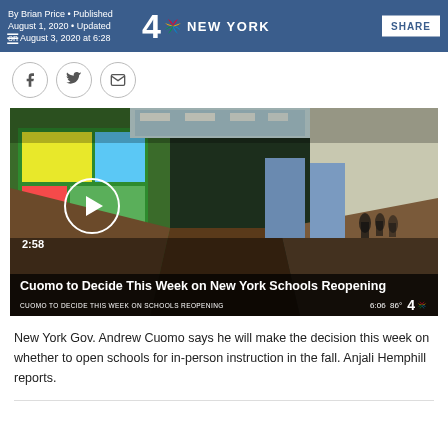By Brian Price • Published August 1, 2020 • Updated on August 3, 2020 at 6:28 — 4 NBC NEW YORK — SHARE
[Figure (screenshot): NBC New York logo with channel 4 and NBC peacock icon in the page header navigation bar]
[Figure (photo): Video thumbnail showing a school hallway with green walls, colorful murals, fluorescent ceiling lights, and silhouettes of children at the far end. Play button overlay, duration 2:58, and lower-third chyron reading 'Cuomo to Decide This Week on New York Schools Reopening' and a news ticker bar showing 'CUOMO TO DECIDE THIS WEEK ON SCHOOLS REOPENING' with timestamp 6:06 and temperature 86°, NBC 4 New York logo.]
New York Gov. Andrew Cuomo says he will make the decision this week on whether to open schools for in-person instruction in the fall. Anjali Hemphill reports.